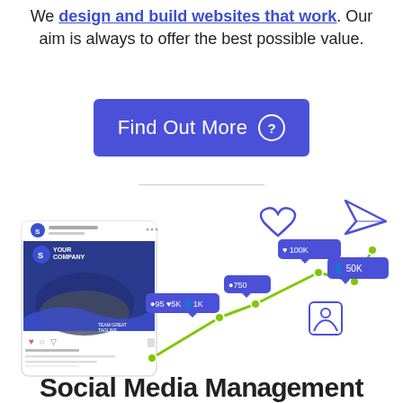We design and build websites that work. Our aim is always to offer the best possible value.
[Figure (other): Blue rounded rectangle button with white text 'Find Out More' and a question mark icon on the right]
[Figure (illustration): Social media marketing illustration showing an Instagram-style post card with 'Your Company' branding and a team photo, alongside a rising green line chart with social media engagement metrics bubbles: heart outline, 100K likes, 750 comments, 95/5K/1K stats, person icon, 50K followers, and a send/paper plane icon]
Social Media Management